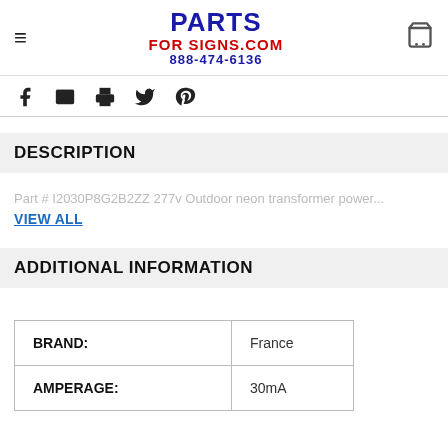PARTS FOR SIGNS.COM 888-474-6136
DESCRIPTION
Part # I2030P8G2B2ZZ 277v Outdoor neon transformer power...
VIEW ALL
ADDITIONAL INFORMATION
|  |  |
| --- | --- |
| BRAND: | France |
| AMPERAGE: | 30mA |